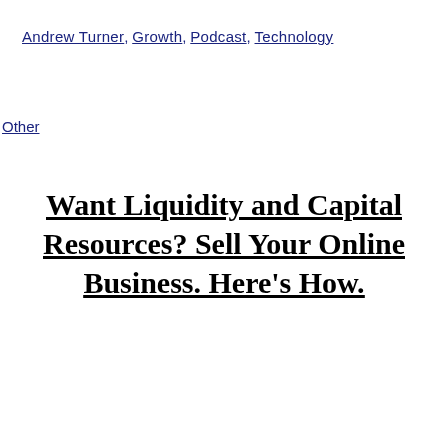Andrew Turner, Growth, Podcast, Technology
Other
Want Liquidity and Capital Resources? Sell Your Online Business. Here's How.